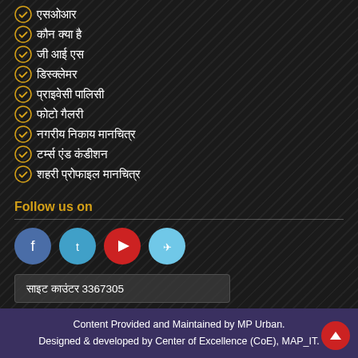एसओआर
कौन क्या है
जी आई एस
डिस्क्लेमर
प्राइवेसी पालिसी
फोटो गैलरी
नगरीय निकाय मानचित्र
टर्म्स एंड कंडीशन
शहरी प्रोफाइल मानचित्र
Follow us on
[Figure (infographic): Social media icons: Facebook (blue circle), Twitter (light blue circle), YouTube (red circle), Telegram (light blue circle)]
साइट काउंटर 3367305
ⓘ  लास्ट अपडेट : 28 अगस्त 2022
Content Provided and Maintained by MP Urban.
Designed & developed by Center of Excellence (CoE), MAP_IT.